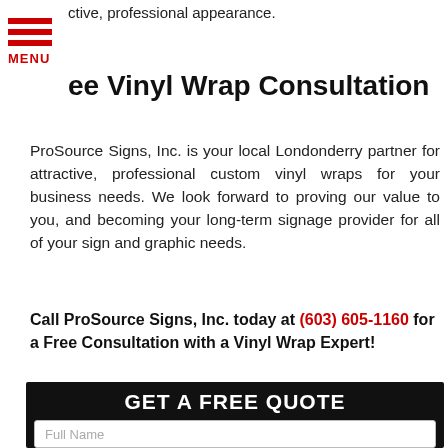ctive, professional appearance.
[Figure (other): Red hamburger menu icon with three horizontal bars and MENU label below]
ee Vinyl Wrap Consultation
ProSource Signs, Inc. is your local Londonderry partner for attractive, professional custom vinyl wraps for your business needs. We look forward to proving our value to you, and becoming your long-term signage provider for all of your sign and graphic needs.
Call ProSource Signs, Inc. today at (603) 605-1160 for a Free Consultation with a Vinyl Wrap Expert!
GET A FREE QUOTE
Full Name
Best Phone
Email Address
What type and size of signage do you need?